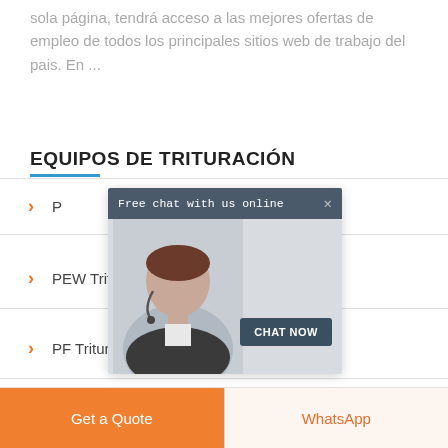sola página, tendrá acceso a las mejores ofertas de empleo de todos los principales sitios web de trabajo del pais. En ...
EQUIPOS DE TRITURACIÓN
P...
PEW Trituradora de Mandíbula
PF Trituradora de Impacto
[Figure (screenshot): Chat popup overlay with header 'Free chat with us online', a customer service representative photo, and a 'CHAT NOW' button]
Get a Quote
WhatsApp